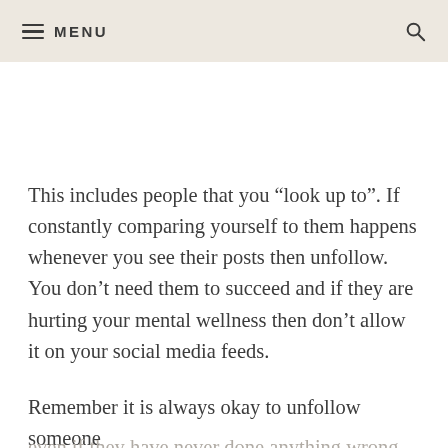MENU
This includes people that you “look up to”. If constantly comparing yourself to them happens whenever you see their posts then unfollow. You don’t need them to succeed and if they are hurting your mental wellness then don’t allow it on your social media feeds.
Remember it is always okay to unfollow someone even if they have never done anything wrong or you think they are a nice person! If their content ma…